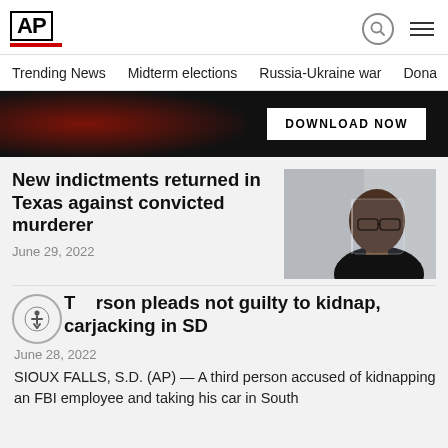[Figure (logo): AP (Associated Press) logo with red underline bar]
Trending News  Midterm elections  Russia-Ukraine war  Dona
[Figure (screenshot): Advertisement banner with dark background and DOWNLOAD NOW button]
New indictments returned in Texas against convicted murderer
June 29, 2022
[Figure (photo): Photo of a Black man wearing glasses and a face shield, in dark clothing, looking sideways]
T rson pleads not guilty to kidnap, carjacking in SD
June 28, 2022
SIOUX FALLS, S.D. (AP) — A third person accused of kidnapping an FBI employee and taking his car in South